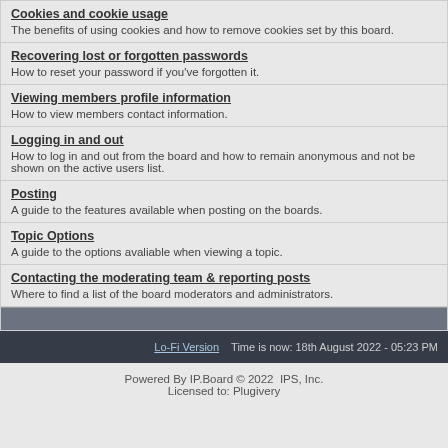Cookies and cookie usage
The benefits of using cookies and how to remove cookies set by this board.
Recovering lost or forgotten passwords
How to reset your password if you've forgotten it.
Viewing members profile information
How to view members contact information.
Logging in and out
How to log in and out from the board and how to remain anonymous and not be shown on the active users list.
Posting
A guide to the features available when posting on the boards.
Topic Options
A guide to the options avaliable when viewing a topic.
Contacting the moderating team & reporting posts
Where to find a list of the board moderators and administrators.
Lo-Fi Version    Time is now: 18th August 2022 - 05:23 PM
Powered By IP.Board © 2022  IPS, Inc.
Licensed to: Plugivery